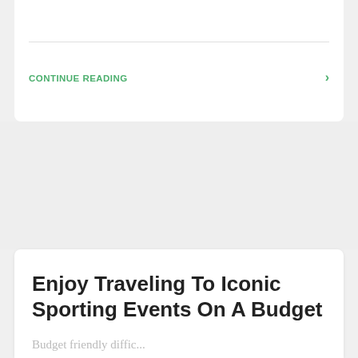CONTINUE READING
Enjoy Traveling To Iconic Sporting Events On A Budget
Budget friendly...